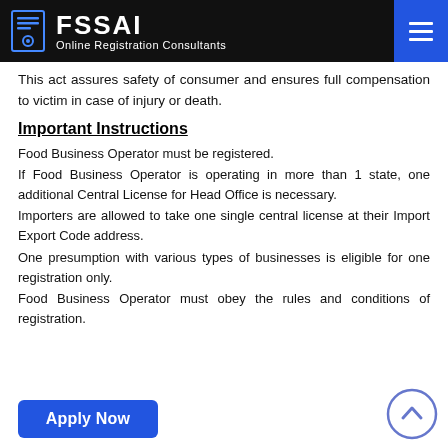FSSAI Online Registration Consultants
This act assures safety of consumer and ensures full compensation to victim in case of injury or death.
Important Instructions
Food Business Operator must be registered.
If Food Business Operator is operating in more than 1 state, one additional Central License for Head Office is necessary.
Importers are allowed to take one single central license at their Import Export Code address.
One presumption with various types of businesses is eligible for one registration only.
Food Business Operator must obey the rules and conditions of registration.